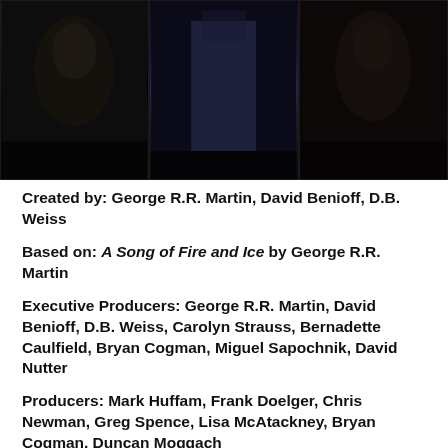[Figure (photo): Three dark-toned panels showing characters in costume from Game of Thrones, arranged horizontally.]
Created by: George R.R. Martin, David Benioff, D.B. Weiss
Based on: A Song of Fire and Ice by George R.R. Martin
Executive Producers: George R.R. Martin, David Benioff, D.B. Weiss, Carolyn Strauss, Bernadette Caulfield, Bryan Cogman, Miguel Sapochnik, David Nutter
Producers: Mark Huffam, Frank Doelger, Chris Newman, Greg Spence, Lisa McAtackney, Bryan Cogman, Duncan Moggach
Writers – Season 8: David Benioff, D.B. Weiss, Dave Hill, Brian C...